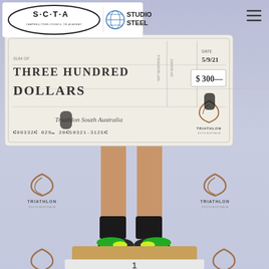[Figure (photo): A triathlete standing on a first-place podium block, holding a large ceremonial cheque. The cheque reads 'THREE HUNDRED DOLLARS' with amount $300 and date 5/9/21, issued by Triathlon South Australia. The backdrop features repeating Triathlon South Australia logos. Top-left shows the S-C-T-A (Campbelltown Council Tri Academy) and Studio Steel logos on a white banner. Top-right shows a hamburger menu icon.]